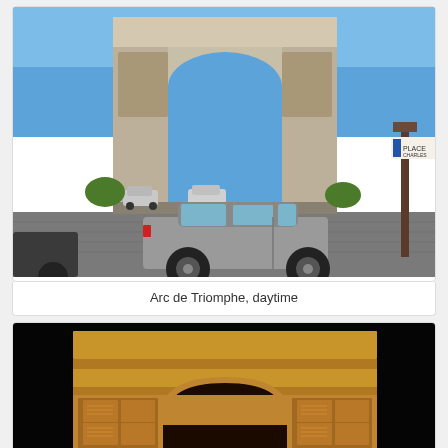[Figure (photo): Daytime photo of the Arc de Triomphe in Paris with cars in the foreground including a silver hatchback, blue sky, and crowds of tourists visible near the monument.]
Arc de Triomphe, daytime
[Figure (photo): Nighttime photo of the Arc de Triomphe in Paris illuminated with golden/yellow lighting against a dark black sky, showing the top portion of the arch with ornate decorative friezes.]